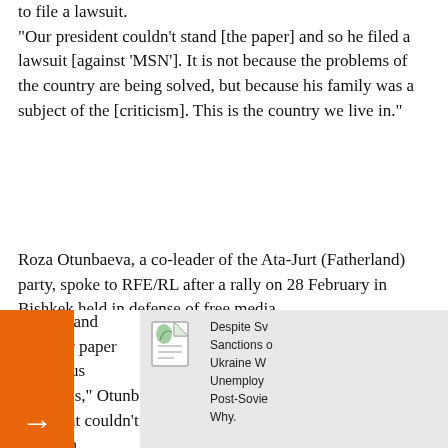to file a lawsuit. "Our president couldn't stand [the paper] and so he filed a lawsuit [against 'MSN']. It is not because the problems of the country are being solved, but because his family was a subject of the [criticism]. This is the country we live in."
Roza Otunbaeva, a co-leader of the Ata-Jurt (Fatherland) party, spoke to RFE/RL after a rally on 28 February in Bishkek held in defense of free media. "Here in Bishkek, Azattyk is still heard, but 'Moy stolitsa' and [another paper] are under enormous pressures," Otunb... our president couldn't stand [th... a lawsuit [against 'MSN']. It... problems of the country are...
[Figure (screenshot): UI overlay with orange arrow pointing right and gray panel with an icon and partial text reading: Despite Sv... Sanctions... Ukraine W... Unemploy... Post-Sovie... Why.]